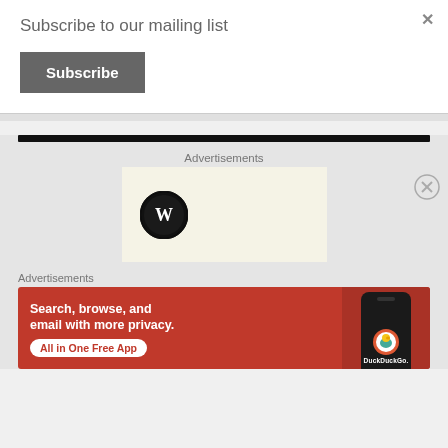Subscribe to our mailing list
Subscribe
×
Advertisements
[Figure (logo): WordPress logo — black circle with W letter mark]
Advertisements
[Figure (screenshot): DuckDuckGo advertisement with orange/red background. Text reads: Search, browse, and email with more privacy. All in One Free App. Shows DuckDuckGo logo and phone mockup.]